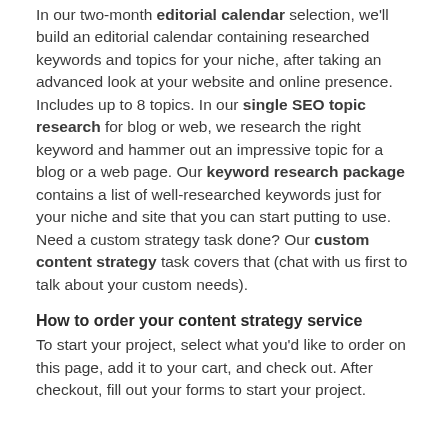In our two-month editorial calendar selection, we'll build an editorial calendar containing researched keywords and topics for your niche, after taking an advanced look at your website and online presence. Includes up to 8 topics. In our single SEO topic research for blog or web, we research the right keyword and hammer out an impressive topic for a blog or a web page. Our keyword research package contains a list of well-researched keywords just for your niche and site that you can start putting to use. Need a custom strategy task done? Our custom content strategy task covers that (chat with us first to talk about your custom needs).
How to order your content strategy service
To start your project, select what you'd like to order on this page, add it to your cart, and check out. After checkout, fill out your forms to start your project.